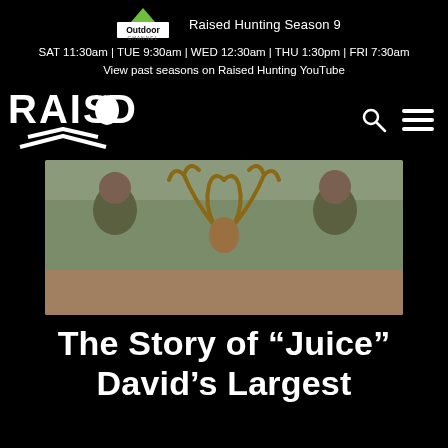Outdoor Channel   Raised Hunting Season 9
SAT 11:30am | TUE 9:30am | WED 12:30am | THU 1:30pm | FRI 7:30am
View past seasons on Raised Hunting YouTube
[Figure (logo): Raised Hunting logo in white text with deer antler graphic and arrow chevron]
[Figure (photo): Two hunters in camouflage gear posing with a large buck deer with antlers, outdoors in a field with bare trees in background]
The Story of “Juice” David’s Largest